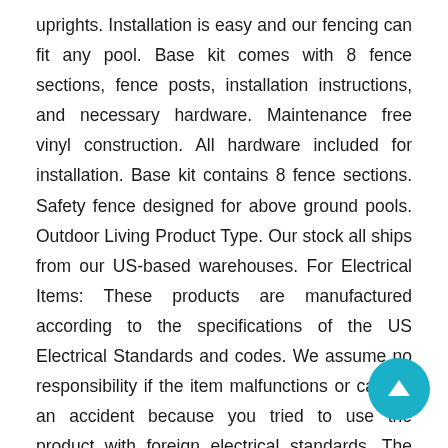uprights. Installation is easy and our fencing can fit any pool. Base kit comes with 8 fence sections, fence posts, installation instructions, and necessary hardware. Maintenance free vinyl construction. All hardware included for installation. Base kit contains 8 fence sections. Safety fence designed for above ground pools. Outdoor Living Product Type. Our stock all ships from our US-based warehouses. For Electrical Items: These products are manufactured according to the specifications of the US Electrical Standards and codes. We assume no responsibility if the item malfunctions or causes an accident because you tried to use the product with foreign electrical standards. The use of these items with a converter or other voltage transforming device is at your own risk. Please Note: Products are designed and rated for use in the US using a 110-120 Volt power source. With or without a transformer, this product is not recommended for use outside the US. The item "8 Section Pool Water Safety Fence Kit Above Ground Vinyl Swimming Pools Kid Safe" is in sale since Monday, April 2015. This item is in the category "Home & Garden...